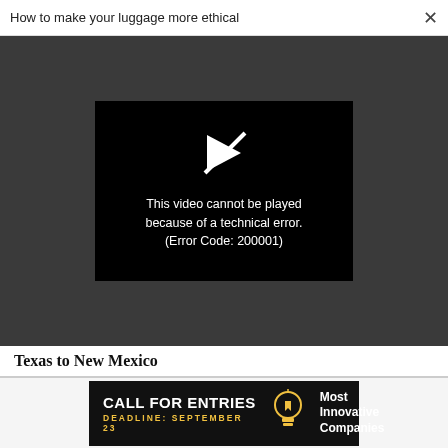How to make your luggage more ethical  ×
[Figure (screenshot): Video player error screen on dark grey background. Black video box with a play icon (crossed out) and text: 'This video cannot be played because of a technical error. (Error Code: 200001)']
Texas to New Mexico
WORK LIFE
5 ways leaders can make sure they stay tuned in to teams
[Figure (infographic): Advertisement banner: black background with 'CALL FOR ENTRIES' in bold white, 'DEADLINE: SEPTEMBER 23' in yellow, a lightbulb icon, and 'Most Innovative Companies' in white text.]